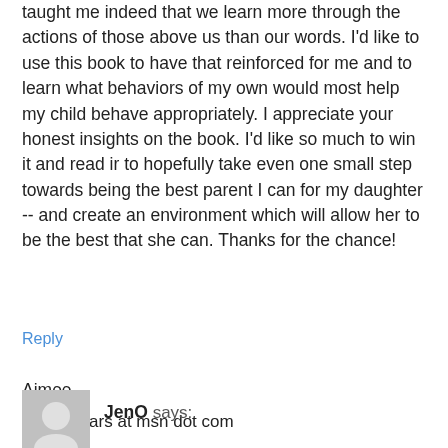taught me indeed that we learn more through the actions of those above us than our words. I'd like to use this book to have that reinforced for me and to learn what behaviors of my own would most help my child behave appropriately. I appreciate your honest insights on the book. I'd like so much to win it and read ir to hopefully take even one small step towards being the best parent I can for my daughter -- and create an environment which will allow her to be the best that she can. Thanks for the chance!
Aimee
arbrashears at msn dot com
Reply
[Figure (illustration): Gray avatar/profile picture placeholder with lighter gray circle icon]
JenO says: